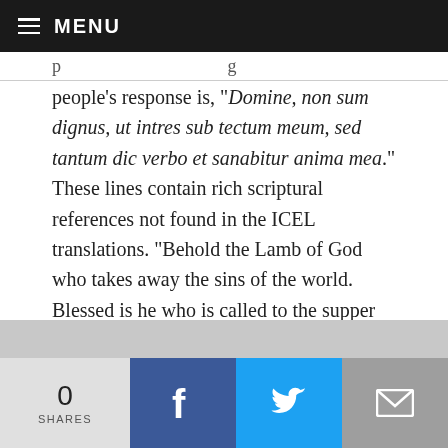MENU
people’s response is, “Domine, non sum dignus, ut intres sub tectum meum, sed tantum dic verbo et sanabitur anima mea.” These lines contain rich scriptural references not found in the ICEL translations. “Behold the Lamb of God who takes away the sins of the world. Blessed is he who is called to the supper of the Lamb,” echoes John 1:29, where the Baptist says at the Jordan, “Behold the Lamb of God who takes away the sins of the world,” and Revelation 19:9, in which the angel instructs St. John the Evangelist to write, “Happy are they who have been invited to the wedding feast of the Lamb.”
0 SHARES